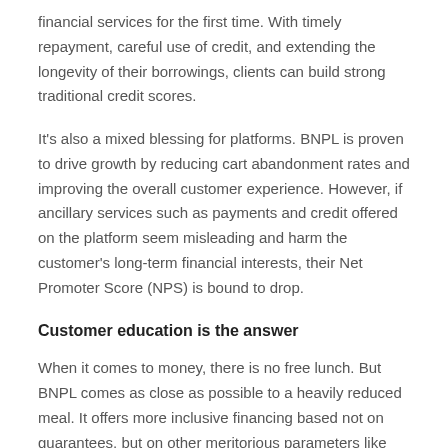financial services for the first time. With timely repayment, careful use of credit, and extending the longevity of their borrowings, clients can build strong traditional credit scores.
It's also a mixed blessing for platforms. BNPL is proven to drive growth by reducing cart abandonment rates and improving the overall customer experience. However, if ancillary services such as payments and credit offered on the platform seem misleading and harm the customer's long-term financial interests, their Net Promoter Score (NPS) is bound to drop.
Customer education is the answer
When it comes to money, there is no free lunch. But BNPL comes as close as possible to a heavily reduced meal. It offers more inclusive financing based not on guarantees, but on other meritorious parameters like reliable cash flow. Customers also get a seamless shopping experience and